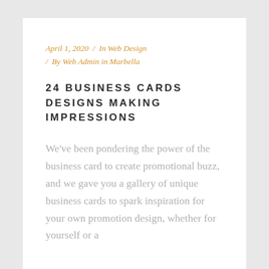April 1, 2020  /  In Web Design  /  By Web Admin in Marbella
24 BUSINESS CARDS DESIGNS MAKING IMPRESSIONS
We've been pondering the power of the business card to create promotional buzz, and we gave you a gallery of unique business cards to spark inspiration for your own promotion design, whether for yourself or a